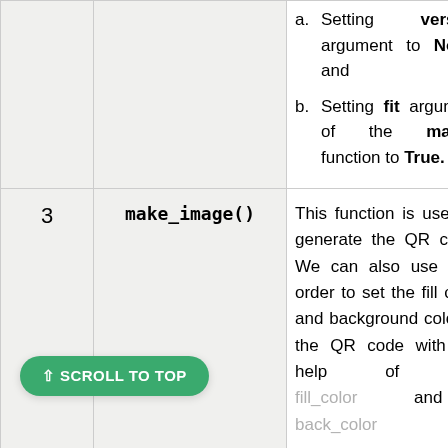| # | Function | Description |
| --- | --- | --- |
|  |  | a. Setting version argument to None, and
b. Setting fit argument of the make() function to True. |
| 3 | make_image() | This function is used to generate the QR code. We can also use it in order to set the fill color and background color of the QR code with the help of the fill_color and back_color... |